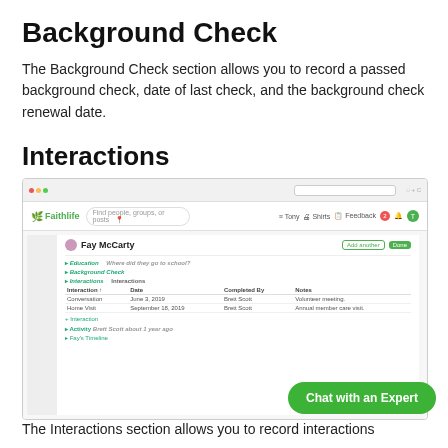Background Check
The Background Check section allows you to record a passed background check, date of last check, and the background check renewal date.
Interactions
[Figure (screenshot): Screenshot of Faithlife web application showing a person profile for Fay McCarty. The profile shows sections for Education, Background Check, and Interactions. The Interactions section contains a table with columns: Interaction, Date, Completed By, Notes. Two rows: Conversation (June 3, 2019, Brett Scott, Volunteer meeting.) and Home Visit (September 18, 2019, Brett Scott, Annual member care visit). At the bottom is a Chat with an Expert green button.]
The Interactions section allows you to record interactions